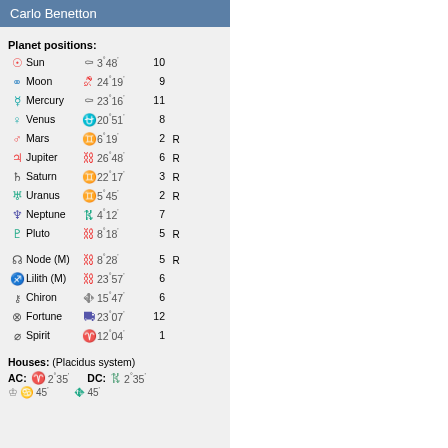Carlo Benetton
Planet positions:
Sun | Capricorn 3°48' | House 10
Moon | Sagittarius 24°19' | House 9
Mercury | Capricorn 23°16' | House 11
Venus | Scorpio 20°51' | House 8
Mars | Gemini 6°19' | House 2 | R
Jupiter | Leo 26°48' | House 6 | R
Saturn | Gemini 22°17' | House 3 | R
Uranus | Gemini 5°45' | House 2 | R
Neptune | Libra 4°12' | House 7
Pluto | Leo 8°18' | House 5 | R
Node (M) | Leo 8°28' | House 5 | R
Lilith (M) | Leo 23°57' | House 6
Chiron | Virgo 15°47' | House 6
Fortune | Pisces 23°07' | House 12
Spirit | Aries 12°04' | House 1
Houses: (Placidus system)
AC: Aries 2°35' | DC: Libra 2°35'